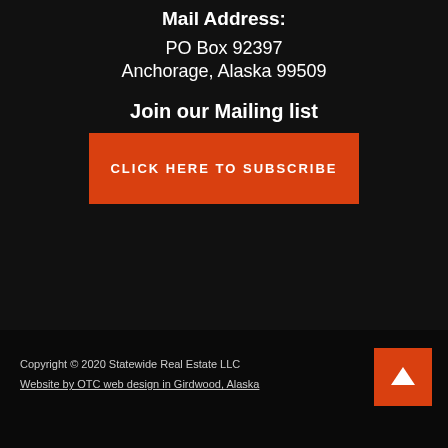Mail Address:
PO Box 92397
Anchorage, Alaska 99509
Join our Mailing list
CLICK HERE TO SUBSCRIBE
Copyright © 2020 Statewide Real Estate LLC
Website by OTC web design in Girdwood, Alaska